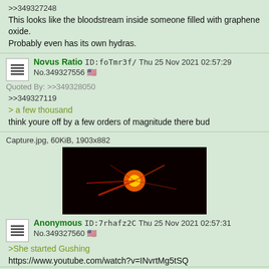>>349327248
This looks like the bloodstream inside someone filled with graphene oxide.
Probably even has its own hydras.
Novus Ratio ID:foTmr3f/ Thu 25 Nov 2021 02:57:29 No.349327556
Quoted By: >>349328050
>>349327119
> a few thousand
think youre off by a few orders of magnitude there bud
Capture.jpg, 60KiB, 1903x882
[Figure (photo): Dark image showing red/orange glowing light streaks on black background]
Anonymous ID:7rhafz2C Thu 25 Nov 2021 02:57:31 No.349327560
>She started Gushing
https://www.youtube.com/watch?v=INvrtMg5tSQ
shampoo_prank.webm, 2MiB, 368x640
[Figure (screenshot): Partial thumbnail of outdoor video showing person in dark shirt]